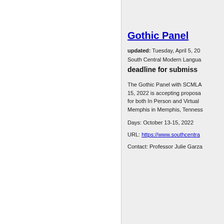Gothic Panel
updated: Tuesday, April 5, 2022
South Central Modern Language Association
deadline for submissions:
The Gothic Panel with SCMLA deadline October 15, 2022 is accepting proposals for both In Person and Virtual presentations at Memphis in Memphis, Tennessee.
Days: October 13-15, 2022
URL: https://www.southcentra...
Contact: Professor Julie Garza